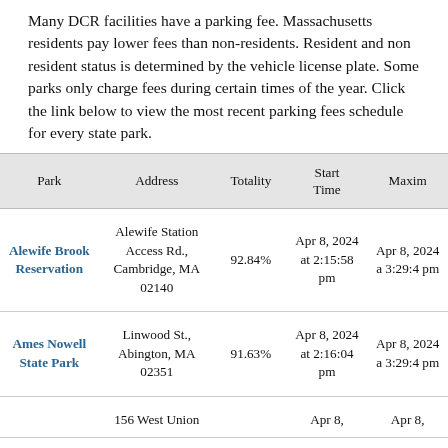Many DCR facilities have a parking fee. Massachusetts residents pay lower fees than non-residents. Resident and non resident status is determined by the vehicle license plate. Some parks only charge fees during certain times of the year. Click the link below to view the most recent parking fees schedule for every state park.
| Park | Address | Totality | Start Time | Maxim |
| --- | --- | --- | --- | --- |
| Alewife Brook Reservation | Alewife Station Access Rd., Cambridge, MA 02140 | 92.84% | Apr 8, 2024 at 2:15:58 pm | Apr 8, 2024 a 3:29:4 pm |
| Ames Nowell State Park | Linwood St., Abington, MA 02351 | 91.63% | Apr 8, 2024 at 2:16:04 pm | Apr 8, 2024 a 3:29:4 pm |
| Ashland St... | 156 West Union |  | Apr 8, | Apr 8, |